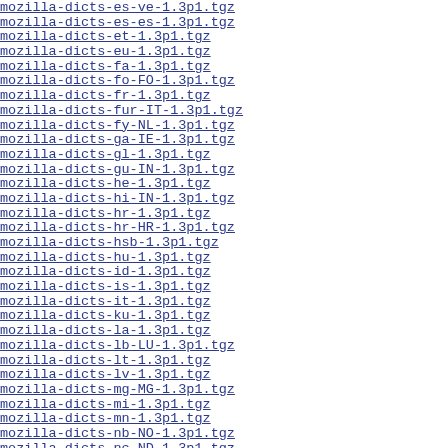mozilla-dicts-es-ve-1.3p1.tgz    11-Apr
mozilla-dicts-es-es-1.3p1.tgz    11-Apr
mozilla-dicts-et-1.3p1.tgz    11-Apr
mozilla-dicts-eu-1.3p1.tgz    11-Apr
mozilla-dicts-fa-1.3p1.tgz    11-Apr
mozilla-dicts-fo-FO-1.3p1.tgz    11-Apr
mozilla-dicts-fr-1.3p1.tgz    11-Apr
mozilla-dicts-fur-IT-1.3p1.tgz    11-Apr
mozilla-dicts-fy-NL-1.3p1.tgz    11-Apr
mozilla-dicts-ga-IE-1.3p1.tgz    11-Apr
mozilla-dicts-gl-1.3p1.tgz    11-Apr
mozilla-dicts-gu-IN-1.3p1.tgz    11-Apr
mozilla-dicts-he-1.3p1.tgz    11-Apr
mozilla-dicts-hi-IN-1.3p1.tgz    11-Apr
mozilla-dicts-hr-1.3p1.tgz    11-Apr
mozilla-dicts-hr-HR-1.3p1.tgz    11-Apr
mozilla-dicts-hsb-1.3p1.tgz    11-Apr
mozilla-dicts-hu-1.3p1.tgz    11-Apr
mozilla-dicts-id-1.3p1.tgz    11-Apr
mozilla-dicts-is-1.3p1.tgz    11-Apr
mozilla-dicts-it-1.3p1.tgz    11-Apr
mozilla-dicts-ku-1.3p1.tgz    11-Apr
mozilla-dicts-la-1.3p1.tgz    11-Apr
mozilla-dicts-lb-LU-1.3p1.tgz    11-Apr
mozilla-dicts-lt-1.3p1.tgz    11-Apr
mozilla-dicts-lv-1.3p1.tgz    11-Apr
mozilla-dicts-mg-MG-1.3p1.tgz    11-Apr
mozilla-dicts-mi-1.3p1.tgz    11-Apr
mozilla-dicts-mn-1.3p1.tgz    11-Apr
mozilla-dicts-nb-NO-1.3p1.tgz    11-Apr
mozilla-dicts-nc-ND-1.3p1.tgz    11-Apr